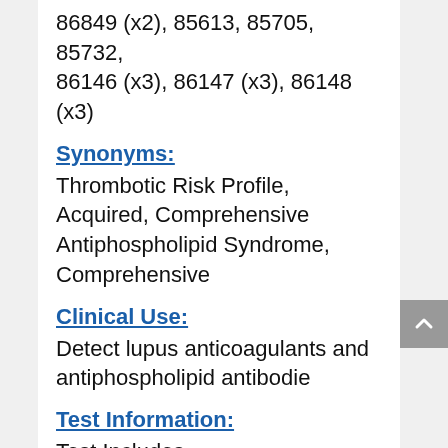86849 (x2), 85613, 85705, 85732, 86146 (x3), 86147 (x3), 86148 (x3)
Synonyms:
Thrombotic Risk Profile, Acquired, Comprehensive Antiphospholipid Syndrome, Comprehensive
Clinical Use:
Detect lupus anticoagulants and antiphospholipid antibodie
Test Information:
Test Includes
Anticardiolipin antibodies, IgA, IgG, IgM, quantitative; antiphosphatidylserine IgA, IgG, IgM; β2-glycoprotein 1 antibodies, IgA, IgG, IgM; dilute